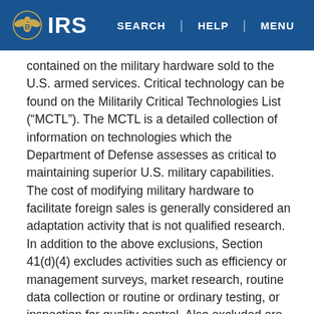IRS | SEARCH | HELP | MENU
contained on the military hardware sold to the U.S. armed services. Critical technology can be found on the Militarily Critical Technologies List (“MCTL”). The MCTL is a detailed collection of information on technologies which the Department of Defense assesses as critical to maintaining superior U.S. military capabilities. The cost of modifying military hardware to facilitate foreign sales is generally considered an adaptation activity that is not qualified research. In addition to the above exclusions, Section 41(d)(4) excludes activities such as efficiency or management surveys, market research, routine data collection or routine or ordinary testing, or inspection for quality control. Also excluded are activities